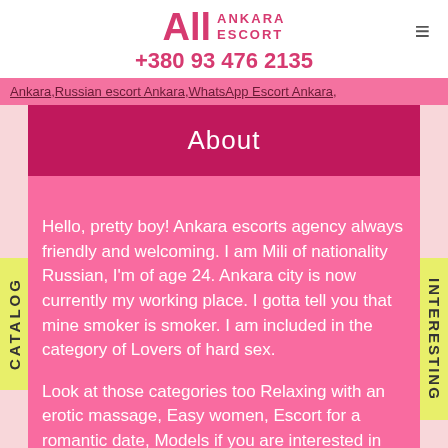All ANKARA ESCORT +380 93 476 2135
Ankara, Russian escort Ankara, WhatsApp Escort Ankara,
About
Hello, pretty boy! Ankara escorts agency always friendly and welcoming. I am Mili of nationality Russian, I'm of age 24. Ankara city is now currently my working place. I gotta tell you that mine smoker is smoker. I am included in the category of Lovers of hard sex.

Look at those categories too Relaxing with an erotic massage, Easy women, Escort for a romantic date, Models if you are interested in new horizons.

I get high from service called Additional and extra and you